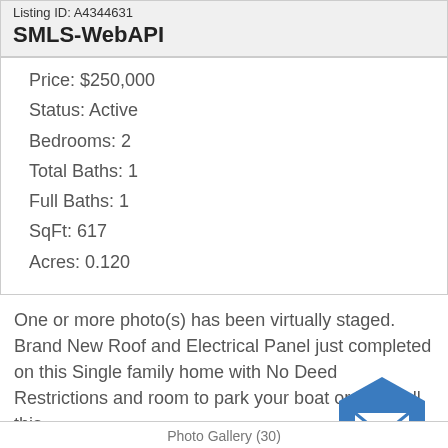Listing ID: A4344631
SMLS-WebAPI
Price: $250,000
Status: Active
Bedrooms: 2
Total Baths: 1
Full Baths: 1
SqFt: 617
Acres: 0.120
One or more photo(s) has been virtually staged. Brand New Roof and Electrical Panel just completed on this Single family home with No Deed Restrictions and room to park your boat or RV! Call this...
[Figure (logo): StarMLS logo with blue hexagon envelope icon and text 'arMLS' in teal]
Photo Gallery (30)